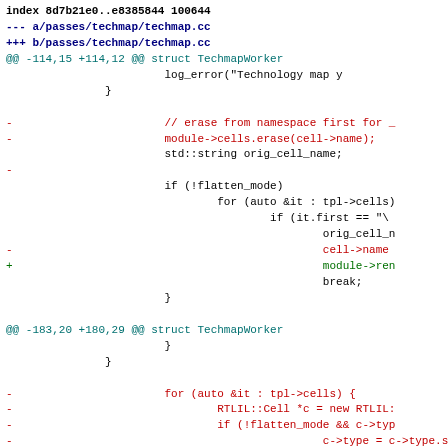index 8d7b21e0..e8385844 100644
--- a/passes/techmap/techmap.cc
+++ b/passes/techmap/techmap.cc
@@ -114,15 +114,12 @@ struct TechmapWorker
                         log_error("Technology map y
                }

-                       // erase from namespace first for _
-                       module->cells.erase(cell->name);
                        std::string orig_cell_name;
-
                        if (!flatten_mode)
                                for (auto &it : tpl->cells)
                                        if (it.first == "\\
                                                orig_cell_n
-                                               cell->name
+                                               module->ren
                                                break;
                        }

@@ -183,20 +180,29 @@ struct TechmapWorker
                        }
               }

-                       for (auto &it : tpl->cells) {
-                               RTLIL::Cell *c = new RTLIL:
-                               if (!flatten_mode && c->typ
-                                               c->type = c->type.s
-                               if (!flatten_mode && c->nam
-                                               c->name = orig_cell